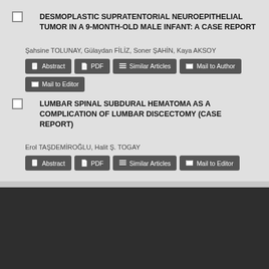DESMOPLASTIC SUPRATENTORIAL NEUROEPITHELIAL TUMOR IN A 9-MONTH-OLD MALE INFANT: A CASE REPORT
Şahsine TOLUNAY, Gülaydan FİLİZ, Soner ŞAHİN, Kaya AKSOY
LUMBAR SPINAL SUBDURAL HEMATOMA AS A COMPLICATION OF LUMBAR DISCECTOMY (CASE REPORT)
Erol TAŞDEMİROĞLU, Halit Ş. TOGAY